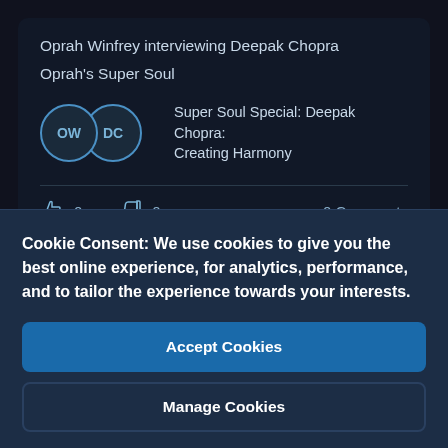Oprah Winfrey interviewing Deepak Chopra
Oprah's Super Soul
[Figure (screenshot): Two overlapping circular avatars labeled OW and DC with episode title text: Super Soul Special: Deepak Chopra: Creating Harmony]
0  0  0 Comments
Save  Hide  Add
Cookie Consent: We use cookies to give you the best online experience, for analytics, performance, and to tailor the experience towards your interests.
Accept Cookies
Manage Cookies